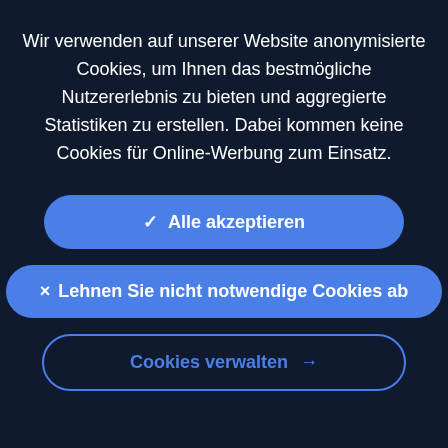Wir verwenden auf unserer Website anonymisierte Cookies, um Ihnen das bestmögliche Nutzererlebnis zu bieten und aggregierte Statistiken zu erstellen. Dabei kommen keine Cookies für Online-Werbung zum Einsatz.
✓ Alle akzeptieren
× Lehnen Sie nicht notwendige Cookies ab
Cookies verwalten →